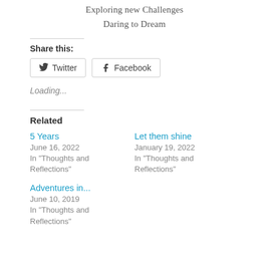Exploring new Challenges
Daring to Dream
Share this:
Twitter  Facebook
Loading...
Related
5 Years
June 16, 2022
In "Thoughts and Reflections"
Let them shine
January 19, 2022
In "Thoughts and Reflections"
Adventures in...
June 10, 2019
In "Thoughts and Reflections"